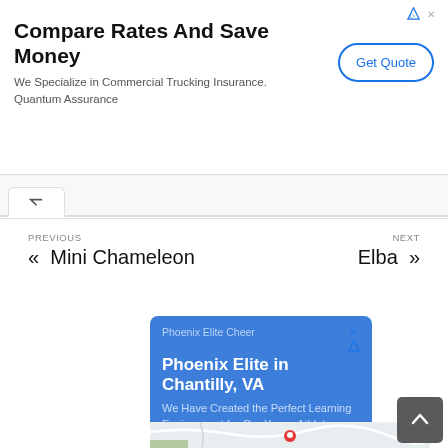Compare Rates And Save Money
We Specialize in Commercial Trucking Insurance. Quantum Assurance
Get Quote
PREVIOUS
« Mini Chameleon
NEXT
Elba »
Phoenix Elite Cheer
Phoenix Elite in Chantilly, VA
We Have Created the Perfect Learning Environment for Our Young Athletes.
[Figure (map): Google Maps screenshot showing road/street map with a red location pin marker]